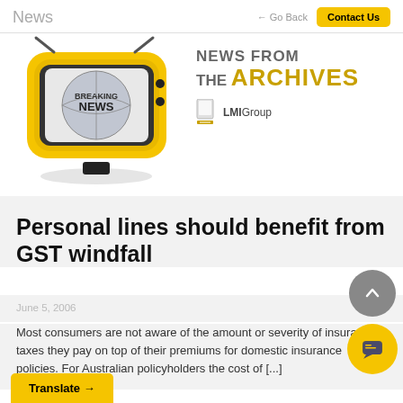News
[Figure (illustration): Breaking News TV illustration with yellow retro TV set, and 'NEWS FROM THE ARCHIVES' text with LMI Group logo]
Personal lines should benefit from GST windfall
June 5, 2006
Most consumers are not aware of the amount or severity of insurance taxes they pay on top of their premiums for domestic insurance policies. For Australian policyholders the cost of [...]